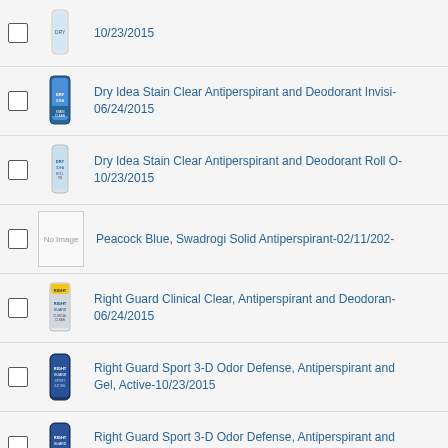10/23/2015
Dry Idea Stain Clear Antiperspirant and Deodorant Invisi- 06/24/2015
Dry Idea Stain Clear Antiperspirant and Deodorant Roll O- 10/23/2015
Peacock Blue, Swadrogi Solid Antiperspirant-02/11/202-
Right Guard Clinical Clear, Antiperspirant and Deodoran- 06/24/2015
Right Guard Sport 3-D Odor Defense, Antiperspirant and Gel, Active-10/23/2015
Right Guard Sport 3-D Odor Defense, Antiperspirant and Gel, Fresh Scent-10/23/2015
Right Guard Sport 3-D Odor Defense, Antiperspirant and Solid, Active-06/24/2015